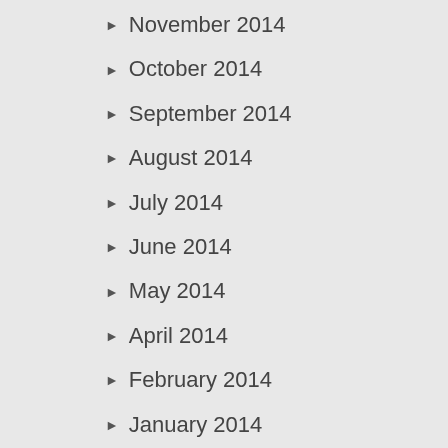November 2014
October 2014
September 2014
August 2014
July 2014
June 2014
May 2014
April 2014
February 2014
January 2014
December 2013
November 2013
October 2013